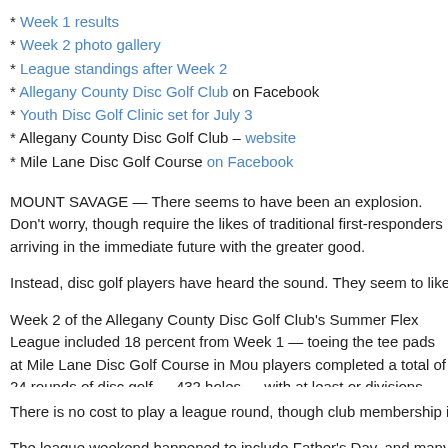* Week 1 results
* Week 2 photo gallery
* League standings after Week 2
* Allegany County Disc Golf Club on Facebook
* Youth Disc Golf Clinic set for July 3
* Allegany County Disc Golf Club – website
* Mile Lane Disc Golf Course on Facebook
MOUNT SAVAGE — There seems to have been an explosion. Don't worry, though require the likes of traditional first-responders arriving in the immediate future with the greater good.
Instead, disc golf players have heard the sound. They seem to like what they hear
Week 2 of the Allegany County Disc Golf Club's Summer Flex League included 18 percent from Week 1 — toeing the tee pads at Mile Lane Disc Golf Course in Mou players completed a total of 24 rounds of disc golf — 432 holes — with at least or divisions. Week 2 allowed players to complete their rounds between Friday (June
There is no cost to play a league round, though club membership is required. Club
The league weekend happened to include Father's Day, and many players celebr